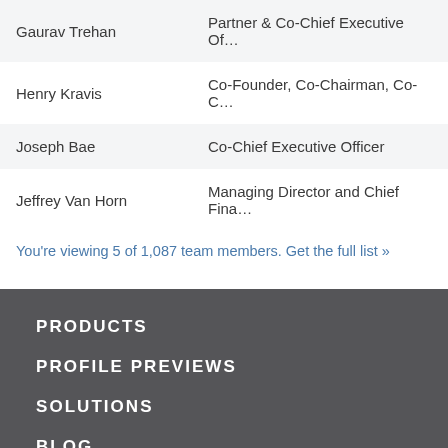| Name | Title |
| --- | --- |
| Gaurav Trehan | Partner & Co-Chief Executive Of… |
| Henry Kravis | Co-Founder, Co-Chairman, Co-C… |
| Joseph Bae | Co-Chief Executive Officer |
| Jeffrey Van Horn | Managing Director and Chief Fina… |
You're viewing 5 of 1,087 team members. Get the full list »
PRODUCTS
PROFILE PREVIEWS
SOLUTIONS
BLOG
WEBINARS
VIDEO LIBRARY